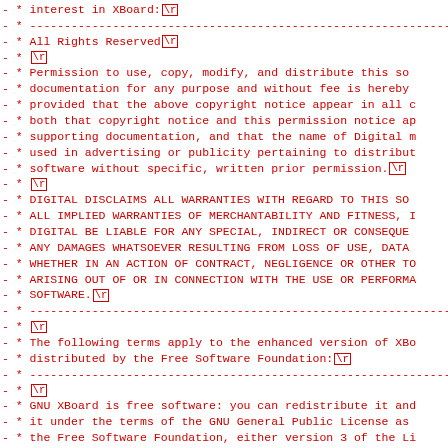source code listing with license text for XBoard/GNU XBoard, showing diff-style lines with carriage return markers
- *  interest in XBoard: \r
- * ---...
- *  All Rights Reserved \r
- * \r
- * Permission to use, copy, modify, and distribute this so...
- * documentation for any purpose and without fee is hereby...
- * provided that the above copyright notice appear in all c...
- * both that copyright notice and this permission notice ap...
- * supporting documentation, and that the name of Digital m...
- * used in advertising or publicity pertaining to distribut...
- * software without specific, written prior permission. \r
- * \r
- * DIGITAL DISCLAIMS ALL WARRANTIES WITH REGARD TO THIS SO...
- * ALL IMPLIED WARRANTIES OF MERCHANTABILITY AND FITNESS, I...
- * DIGITAL BE LIABLE FOR ANY SPECIAL, INDIRECT OR CONSEQUE...
- * ANY DAMAGES WHATSOEVER RESULTING FROM LOSS OF USE, DATA...
- * WHETHER IN AN ACTION OF CONTRACT, NEGLIGENCE OR OTHER T...
- * ARISING OUT OF OR IN CONNECTION WITH THE USE OR PERFORMA...
- * SOFTWARE. \r
- * ---...
- * \r
- * The following terms apply to the enhanced version of XBo...
- * distributed by the Free Software Foundation: \r
- * ---...
- * \r
- * GNU XBoard is free software: you can redistribute it and...
- * it under the terms of the GNU General Public License as...
- * the Free Software Foundation, either version 3 of the Li...
- * your option) any later version. \r
- * \r
- * GNU XBoard is distributed in the hope that it will be us...
- * WITHOUT ANY WARRANTY; without even the implied warranty...
- * MERCHANTABILITY or FITNESS FOR A PARTICULAR PURPOSE...